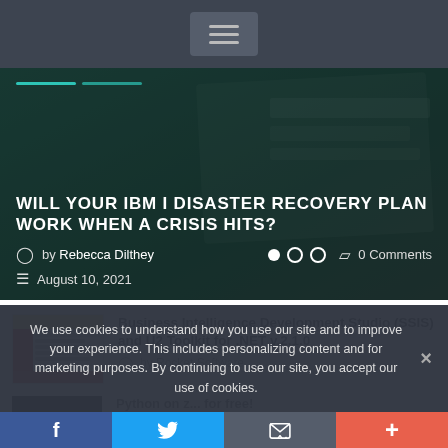[Figure (screenshot): Navigation bar with hamburger menu button on dark grey background]
WILL YOUR IBM I DISASTER RECOVERY PLAN WORK WHEN A CRISIS HITS?
by Rebecca Dilthey  0 Comments  August 10, 2021
[Figure (screenshot): Article thumbnail showing Business Intelligence Development Studio (SSIS) and U2 Toolkit for .NET v.2.1.0 interface]
Business Intelligence Development Studio (SSIS) and U2 Toolkit for .NET v.2.1.0
by Rocket Software
Python on z... for free!
by Rocket Software
We use cookies to understand how you use our site and to improve your experience. This includes personalizing content and for marketing purposes. By continuing to use our site, you accept our use of cookies.